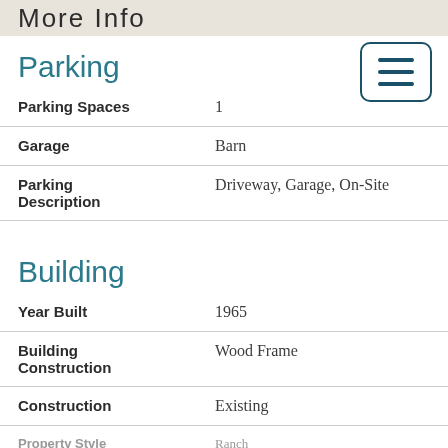More Info
Parking
| Field | Value |
| --- | --- |
| Parking Spaces | 1 |
| Garage | Barn |
| Parking Description | Driveway, Garage, On-Site |
Building
| Field | Value |
| --- | --- |
| Year Built | 1965 |
| Building Construction | Wood Frame |
| Construction | Existing |
| Property Style | Ranch |